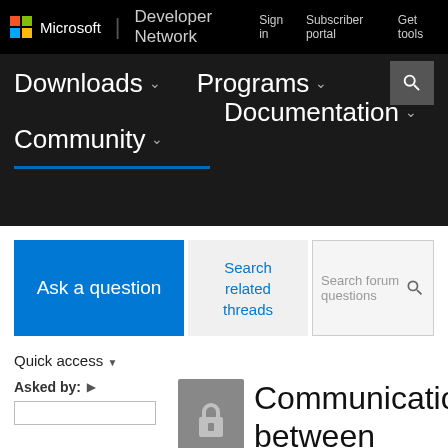Microsoft | Developer Network
Sign in  Subscriber portal  Get tools
Downloads  Programs  Community  Documentation
Ask a question
Search related threads
Search forum questions
Quick access
Asked by:
Communication between DLLs in Metro App